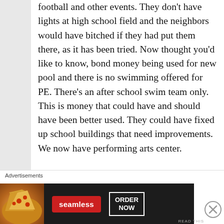football and other events. They don't have lights at high school field and the neighbors would have bitched if they had put them there, as it has been tried. Now thought you'd like to know, bond money being used for new pool and there is no swimming offered for PE. There's an after school swim team only. This is money that could have and should have been better used. They could have fixed up school buildings that need improvements. We now have performing arts center.
[Figure (other): Advertisement banner for Seamless food ordering service featuring pizza image, Seamless red logo, and ORDER NOW button]